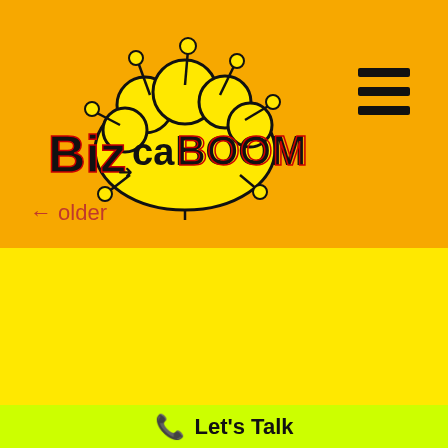[Figure (logo): BizCaBOOM logo on orange background with comic-style explosion cloud]
← older
[Figure (logo): BizCaBOOM logo on yellow background with larger comic-style explosion cloud]
Let's Talk